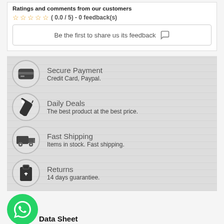Ratings and comments from our customers
( 0.0 / 5) - 0 feedback(s)
Be the first to share us its feedback
Secure Payment - Credit Card, Paypal.
Daily Deals - The best product at the best price.
Fast Shipping - Items in stock. Fast shipping.
Returns - 14 days guarantiee.
Data Sheet